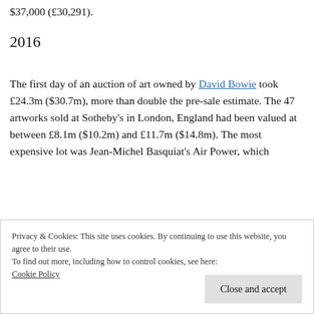$37,000 (£30,291).
2016
The first day of an auction of art owned by David Bowie took £24.3m ($30.7m), more than double the pre-sale estimate. The 47 artworks sold at Sotheby's in London, England had been valued at between £8.1m ($10.2m) and £11.7m ($14.8m). The most expensive lot was Jean-Michel Basquiat's Air Power, which
Privacy & Cookies: This site uses cookies. By continuing to use this website, you agree to their use.
To find out more, including how to control cookies, see here: Cookie Policy
Close and accept